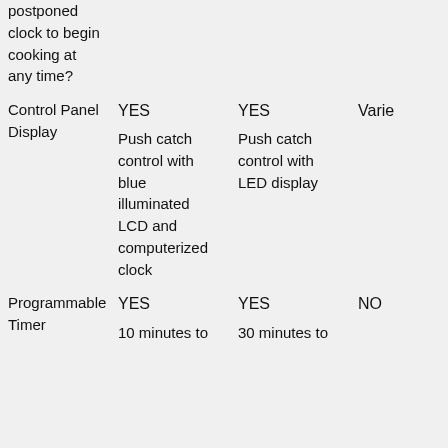| Feature | Model A | Model B | Model C |
| --- | --- | --- | --- |
| postponed clock to begin cooking at any time? |  |  |  |
| Control Panel Display | YES
Push catch control with blue illuminated LCD and computerized clock | YES
Push catch control with LED display | Varie |
| Programmable Timer | YES
10 minutes to | YES
30 minutes to | NO |